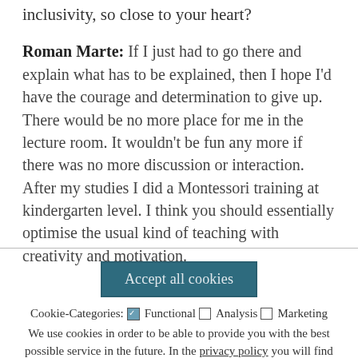inclusivity, so close to your heart?
Roman Marte: If I just had to go there and explain what has to be explained, then I hope I'd have the courage and determination to give up. There would be no more place for me in the lecture room. It wouldn't be fun any more if there was no more discussion or interaction. After my studies I did a Montessori training at kindergarten level. I think you should essentially optimise the usual kind of teaching with creativity and motivation.
[Figure (screenshot): Cookie consent banner with Accept all cookies button, cookie category checkboxes (Functional checked, Analysis unchecked, Marketing unchecked), explanatory text, privacy policy link, and Save preferences link.]